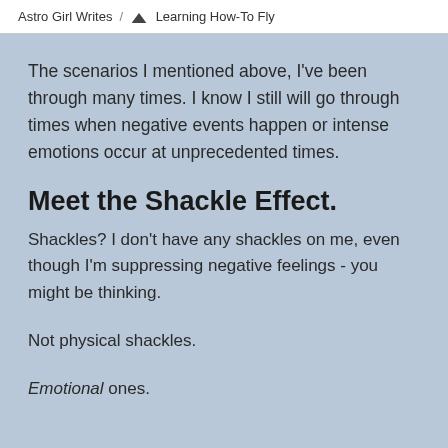Astro Girl Writes / Learning How-To Fly
The scenarios I mentioned above, I've been through many times. I know I still will go through times when negative events happen or intense emotions occur at unprecedented times.
Meet the Shackle Effect.
Shackles? I don't have any shackles on me, even though I'm suppressing negative feelings - you might be thinking.
Not physical shackles.
Emotional ones.